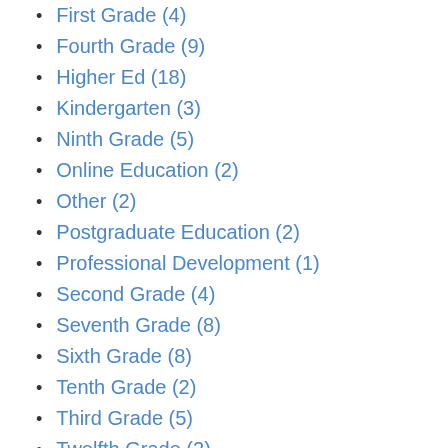First Grade (4)
Fourth Grade (9)
Higher Ed (18)
Kindergarten (3)
Ninth Grade (5)
Online Education (2)
Other (2)
Postgraduate Education (2)
Professional Development (1)
Second Grade (4)
Seventh Grade (8)
Sixth Grade (8)
Tenth Grade (2)
Third Grade (5)
Twelfth Grade (2)
Undergraduate Education (2)
Subjects
All (78)